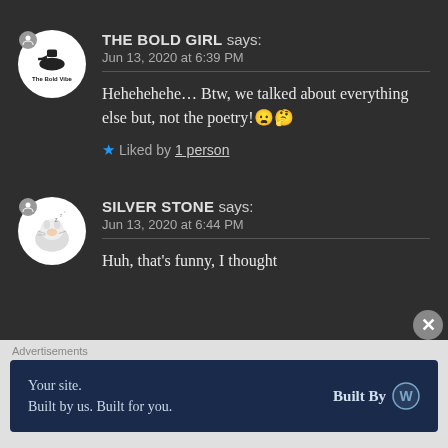THE BOLD GIRL says: Jun 13, 2020 at 6:39 PM
Hehehehehehe… Btw, we talked about everything else but, not the poetry!😦🤔
★ Liked by 1 person
SILVER STONE says: Jun 13, 2020 at 6:44 PM
Huh, that's funny, I thought
Advertisements
Your site. Built by us. Built for you. Built By W